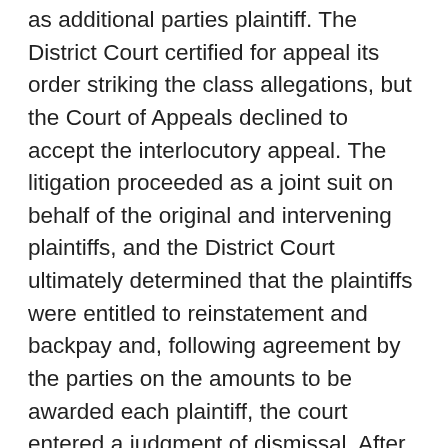as additional parties plaintiff. The District Court certified for appeal its order striking the class allegations, but the Court of Appeals declined to accept the interlocutory appeal. The litigation proceeded as a joint suit on behalf of the original and intervening plaintiffs, and the District Court ultimately determined that the plaintiffs were entitled to reinstatement and backpay and, following agreement by the parties on the amounts to be awarded each plaintiff, the court entered a judgment of dismissal. After learning of the Romasanta judgment and that despite their earlier attempt to do so the plaintiffs in that case did not plan to appeal the order denying class certification, respondent, a former United stewardess who had been discharged on account of the no-marriage rule and was thus a putative member of the Romasanta class and who had not filed charges or a grievance, filed, 18 days after the judgment (and therefore within the applicable appeal period) a motion to intervene for the purpose of appealing the adverse class determination